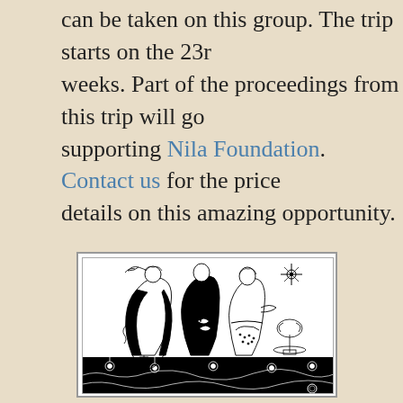can be taken on this group. The trip starts on the 23r[d]... weeks. Part of the proceedings from this trip will go... supporting Nila Foundation. Contact us for the price... details on this amazing opportunity.
[Figure (illustration): Art Nouveau style black and white line drawing of three women in decorative robes with ornamental background including flowers, a bird, compass star, and bonsai tree]